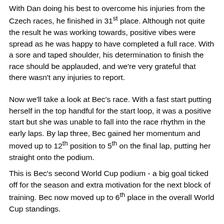With Dan doing his best to overcome his injuries from the Czech races, he finished in 31st place. Although not quite the result he was working towards, positive vibes were spread as he was happy to have completed a full race. With a sore and taped shoulder, his determination to finish the race should be applauded, and we're very grateful that there wasn't any injuries to report.
Now we'll take a look at Bec's race. With a fast start putting herself in the top handful for the start loop, it was a positive start but she was unable to fall into the race rhythm in the early laps. By lap three, Bec gained her momentum and moved up to 12th position to 5th on the final lap, putting her straight onto the podium.
This is Bec's second World Cup podium - a big goal ticked off for the season and extra motivation for the next block of training. Bec now moved up to 6th place in the overall World Cup standings.